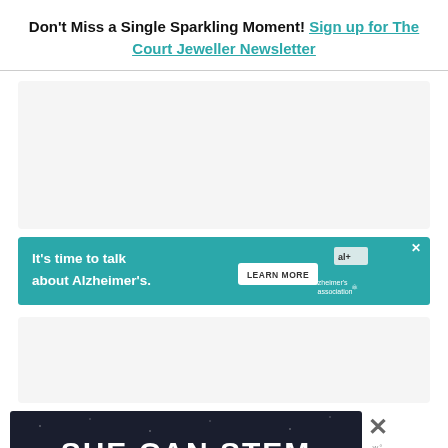Don't Miss a Single Sparkling Moment! Sign up for The Court Jeweller Newsletter
[Figure (other): Alzheimer's Association advertisement banner with teal background. Text: 'It's time to talk about Alzheimer's.' with a 'LEARN MORE' button and Alzheimer's association logo.]
[Figure (other): SHE CAN STEM advertisement banner with dark navy background and bold white text reading 'SHE CAN STEM'.]